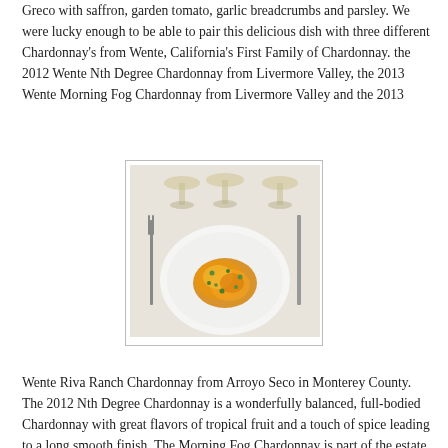Greco with saffron, garden tomato, garlic breadcrumbs and parsley.  We were lucky enough to be able to pair this delicious dish with three different Chardonnay's from Wente, California's First Family of Chardonnay.  the 2012 Wente Nth Degree Chardonnay from Livermore Valley, the 2013 Wente Morning Fog Chardonnay from Livermore Valley and the 2013
[Figure (photo): A restaurant-plated dish on a white round plate showing a colorful food preparation with orange/yellow sauce and green herbs, with wine glasses visible in the background on a white tablecloth, and cutlery (fork and knife) on either side.]
Wente Riva Ranch Chardonnay from Arroyo Seco in Monterey County.  The 2012 Nth Degree Chardonnay is a wonderfully balanced, full-bodied Chardonnay with great flavors of tropical fruit and a touch of spice leading to a long smooth finish.  The Morning Fog Chardonnay is part of the estate grown group of wines.  It has flavors and aromas of green apple, citrus and tropical fruit plus vanilla and cinnamon with a good balance of acidity and mouthfeel.  The Riva Ranch Chardonnay is part of the single